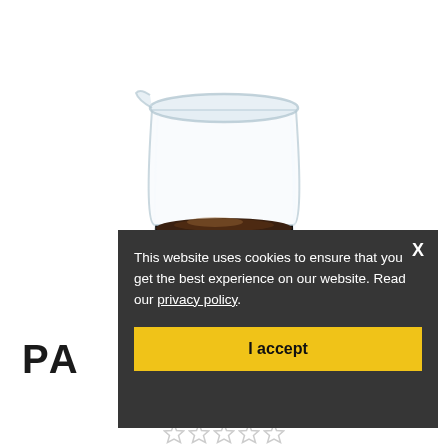[Figure (photo): A 50ml glass laboratory beaker with a dark (black) body section showing measurement markings at 10, 20, 30, and 40 ml, a blue oval label area, text reading 'ACADEMY', '50ml', and 'CAT. No A/2218/50'. The beaker contains a dark brown/black liquid. White background with soft shadow.]
This website uses cookies to ensure that you get the best experience on our website. Read our privacy policy.
I accept
PA IN